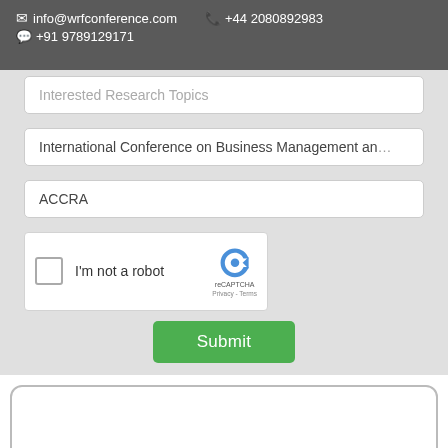✉ info@wrfconference.com  📞 +44 2080892983  💬 +91 9789129171
Interested Research Topics (truncated input field)
International Conference on Business Management and...
ACCRA
[Figure (screenshot): reCAPTCHA widget with checkbox, 'I'm not a robot' label, reCAPTCHA logo, Privacy and Terms links]
Submit
[Figure (screenshot): White card/box with rounded corners and gray border at the bottom of the page]